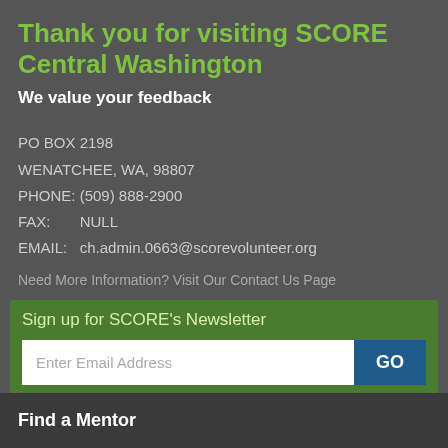Thank you for visiting SCORE Central Washington
We value your feedback
PO BOX 2198
WENATCHEE, WA, 98807
PHONE: (509) 888-2900
FAX:       NULL
EMAIL:   ch.admin.0663@scorevolunteer.org
Need More Information? Visit Our Contact Us Page
Sign up for SCORE's Newsletter
Enter Email Address
GO
Find a Mentor